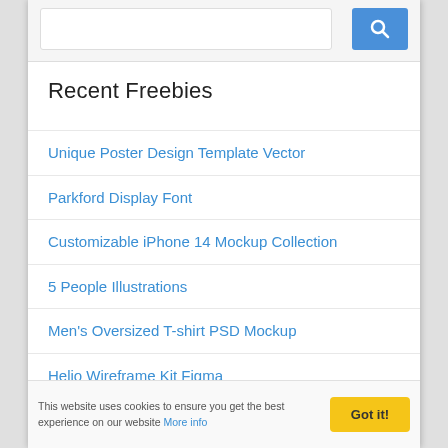[Figure (screenshot): Search input box with blue search button icon on top area]
Recent Freebies
Unique Poster Design Template Vector
Parkford Display Font
Customizable iPhone 14 Mockup Collection
5 People Illustrations
Men's Oversized T-shirt PSD Mockup
Helio Wireframe Kit Figma
Creative 404 Not Found Page Template
This website uses cookies to ensure you get the best experience on our website More info  Got it!